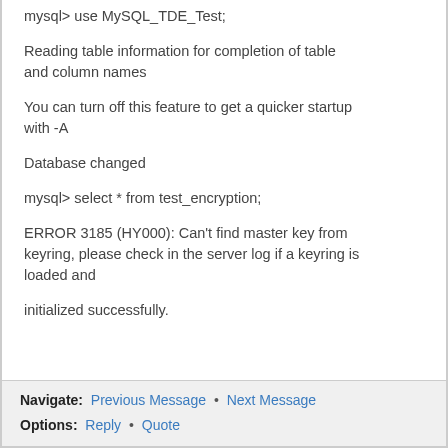mysql> use MySQL_TDE_Test;

Reading table information for completion of table and column names

You can turn off this feature to get a quicker startup with -A

Database changed

mysql> select * from test_encryption;

ERROR 3185 (HY000): Can't find master key from keyring, please check in the server log if a keyring is loaded and

initialized successfully.
Navigate: Previous Message · Next Message
Options: Reply · Quote